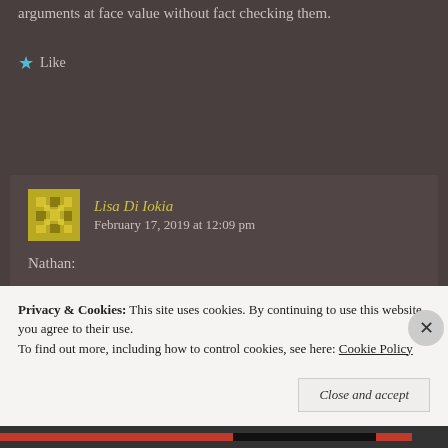arguments at face value without fact checking them.
Like
Lisa Di Iokia   February 17, 2019 at 12:09 pm
Nathan:
AS Behe points out, he didn't do any math in the Eof Evol: he used numbers that have come out of clinical data. These numbers are mere facts, not speculation,
Privacy & Cookies: This site uses cookies. By continuing to use this website, you agree to their use.
To find out more, including how to control cookies, see here: Cookie Policy
Close and accept